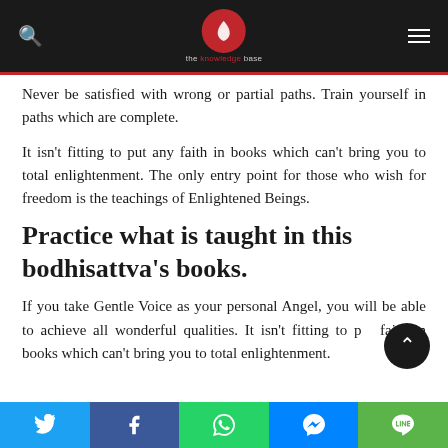the knowledge base
Never be satisfied with wrong or partial paths. Train yourself in paths which are complete.
It isn't fitting to put any faith in books which can't bring you to total enlightenment. The only entry point for those who wish for freedom is the teachings of Enlightened Beings.
Practice what is taught in this bodhisattva's books.
If you take Gentle Voice as your personal Angel, you will be able to achieve all wonderful qualities. It isn't fitting to put faith in books which can't bring you to total enlightenment.